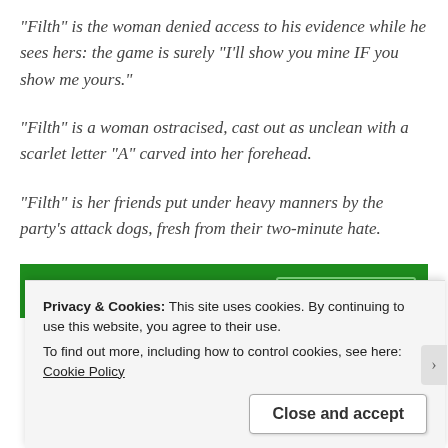“Filth” is the woman denied access to his evidence while he sees hers: the game is surely “I’ll show you mine IF you show me yours.”
“Filth” is a woman ostracised, cast out as unclean with a scarlet letter “A” carved into her forehead.
“Filth” is her friends put under heavy manners by the party’s attack dogs, fresh from their two-minute hate.
[Figure (screenshot): Jetpack advertisement banner with green background showing Jetpack logo and 'Back up your site' button]
Privacy & Cookies: This site uses cookies. By continuing to use this website, you agree to their use.
To find out more, including how to control cookies, see here: Cookie Policy